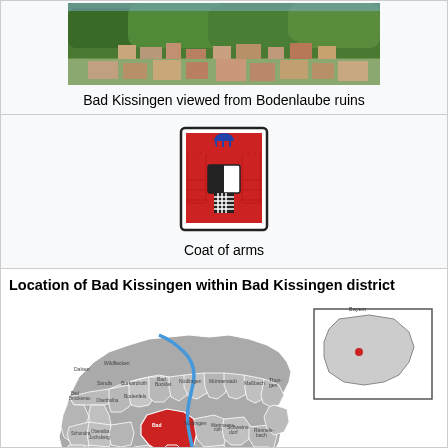[Figure (photo): Aerial photograph of Bad Kissingen viewed from Bodenlaube ruins, showing town and green trees]
Bad Kissingen viewed from Bodenlaube ruins
[Figure (illustration): Coat of arms of Bad Kissingen: red castle with blue dome on top tower, black and white shield, on white background with black border]
Coat of arms
[Figure (map): Map showing location of Bad Kissingen within Bad Kissingen district, with red highlighted municipality, blue river, grey surrounding municipalities, and inset Bavaria state map]
Location of Bad Kissingen within Bad Kissingen district